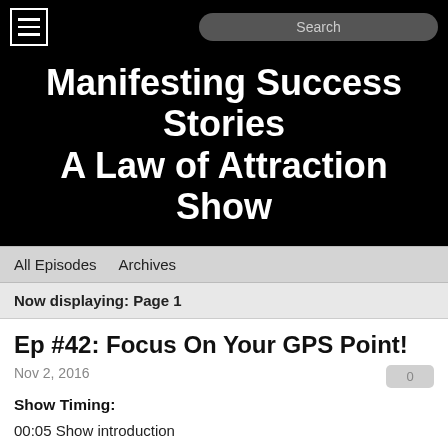Manifesting Success Stories A Law of Attraction Show
All Episodes   Archives
Now displaying: Page 1
Ep #42: Focus On Your GPS Point!
Nov 2, 2016
Show Timing:
00:05 Show introduction
00:37 Cassie Parks introduction
1:05 There is more to say
1:15 Get as much done in chunks as I can because it makes my world easier